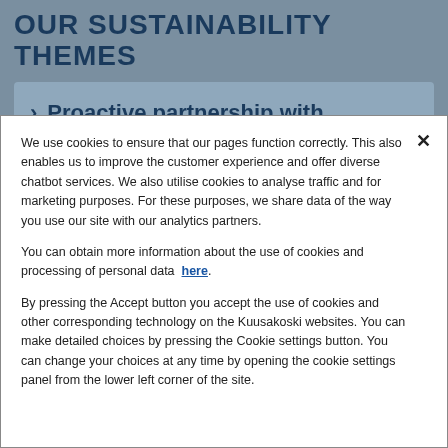OUR SUSTAINABILITY THEMES
> Proactive partnership with
We use cookies to ensure that our pages function correctly. This also enables us to improve the customer experience and offer diverse chatbot services. We also utilise cookies to analyse traffic and for marketing purposes. For these purposes, we share data of the way you use our site with our analytics partners.
You can obtain more information about the use of cookies and processing of personal data here.
By pressing the Accept button you accept the use of cookies and other corresponding technology on the Kuusakoski websites. You can make detailed choices by pressing the Cookie settings button. You can change your choices at any time by opening the cookie settings panel from the lower left corner of the site.